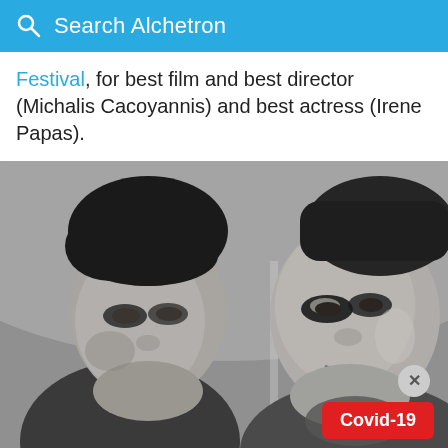Search Alchetron
Festival, for best film and best director (Michalis Cacoyannis) and best actress (Irene Papas).
[Figure (photo): Black and white film still showing two women facing each other in close proximity. The woman on the left has short dark hair and dark eye makeup. The woman on the right has her hair pulled back and dramatic dark eye makeup, facing slightly left. Both appear to be in a dramatic scene from a classic film.]